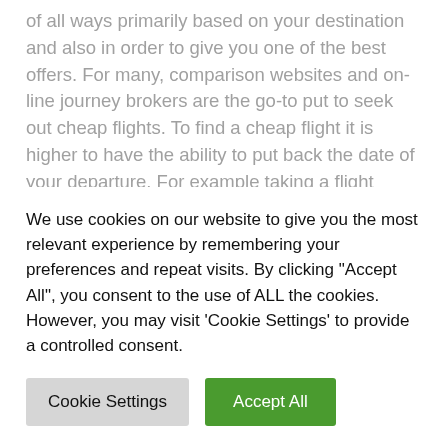of all ways primarily based on your destination and also in order to give you one of the best offers. For many, comparison websites and on-line journey brokers are the go-to put to seek out cheap flights. To find a cheap flight it is higher to have the ability to put back the date of your departure. For example taking a flight departure at the weekend may be dearer than travelling during the week. Now finding flight tickets on the Internet is becoming rather more tough as a result of there is a multitude of journey companies online to look at. Finding a flight ticket at the best worth can be a long
We use cookies on our website to give you the most relevant experience by remembering your preferences and repeat visits. By clicking "Accept All", you consent to the use of ALL the cookies. However, you may visit 'Cookie Settings' to provide a controlled consent.
Cookie Settings | Accept All